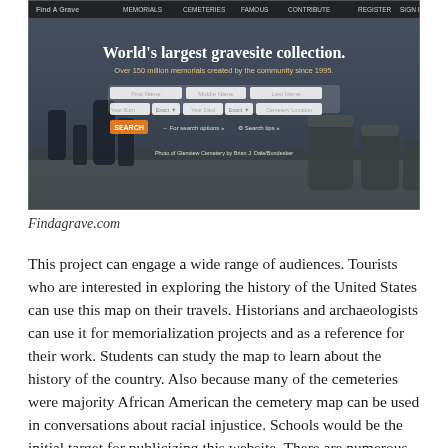[Figure (screenshot): Screenshot of Findagrave.com website showing a header with navigation links (Memorials, Cemeteries, Famous, Contribute, Register, Sign In), a hero image of a cemetery with gravestones, the headline 'World's largest gravesite collection.' and subtext 'Over 150 million memorials created by the community since 1995.', a search form with fields for First Name, Middle Name, Last Name, Year Born with Exact dropdown, Year Died with Exact dropdown, Cemetery Location, an orange SEARCH button, and photo credit text at the bottom.]
Findagrave.com
This project can engage a wide range of audiences. Tourists who are interested in exploring the history of the United States can use this map on their travels. Historians and archaeologists can use it for memorialization projects and as a reference for their work. Students can study the map to learn about the history of the country. Also because many of the cemeteries were majority African American the cemetery map can be used in conversations about racial injustice. Schools would be the initial target for publicizing this website. There are numerous ways to incorporate